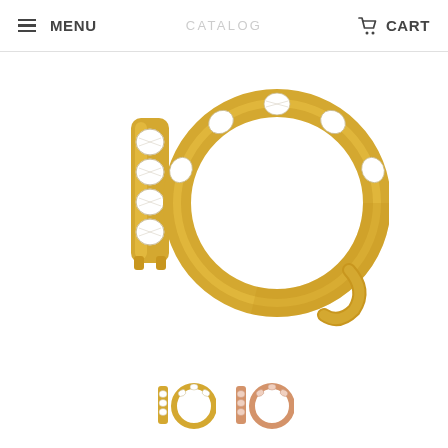MENU  CATALOG  CART
[Figure (photo): Two gold hoop/huggie earrings with channel-set cubic zirconia stones. Left earring shown from the side (appears as a bar), right earring shown as a full circle hoop. Both are yellow gold with sparkling white stones set across the top.]
[Figure (photo): Two small thumbnail images of the earring product. First thumbnail shows gold bar and hoop earrings (yellow gold version). Second thumbnail shows a rose gold version of the same earrings.]